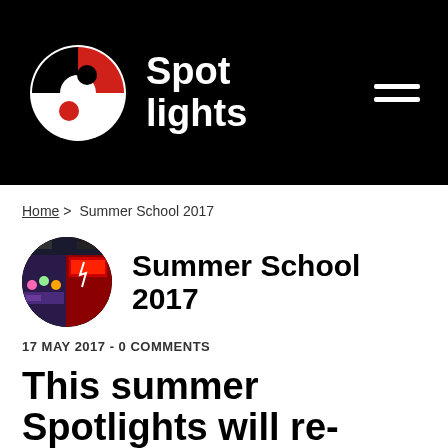Spotlights
Home > Summer School 2017
[Figure (photo): Circular avatar image showing Trolls and School of Rock promotional material]
Summer School 2017
17 MAY 2017 - 0 COMMENTS
This summer Spotlights will re-create the magic of Trolls (age 4-6) and